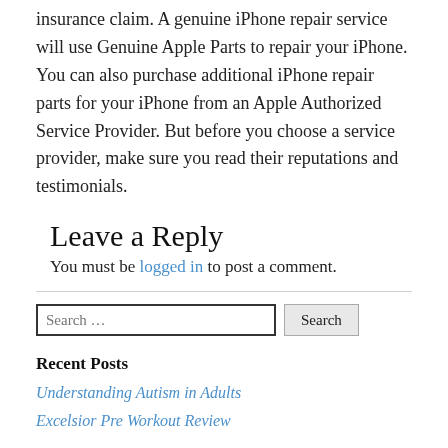insurance claim. A genuine iPhone repair service will use Genuine Apple Parts to repair your iPhone. You can also purchase additional iPhone repair parts for your iPhone from an Apple Authorized Service Provider. But before you choose a service provider, make sure you read their reputations and testimonials.
Leave a Reply
You must be logged in to post a comment.
Search …
Recent Posts
Understanding Autism in Adults
Excelsior Pre Workout Review